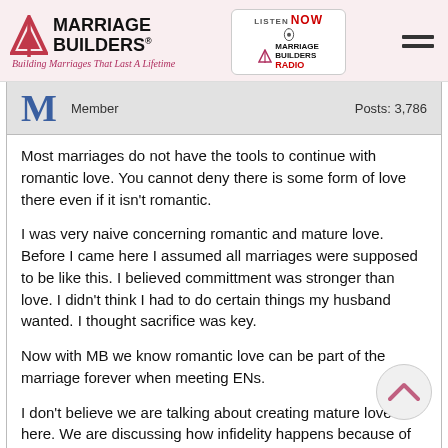Marriage Builders® — Building Marriages That Last A Lifetime | Listen Now — Marriage Builders Radio
M   Member   Posts: 3,786
Most marriages do not have the tools to continue with romantic love. You cannot deny there is some form of love there even if it isn't romantic.
I was very naive concerning romantic and mature love. Before I came here I assumed all marriages were supposed to be like this. I believed committment was stronger than love. I didn't think I had to do certain things my husband wanted. I thought sacrifice was key.
Now with MB we know romantic love can be part of the marriage forever when meeting ENs.
I don't believe we are talking about creating mature love here. We are discussing how infidelity happens because of romantic love